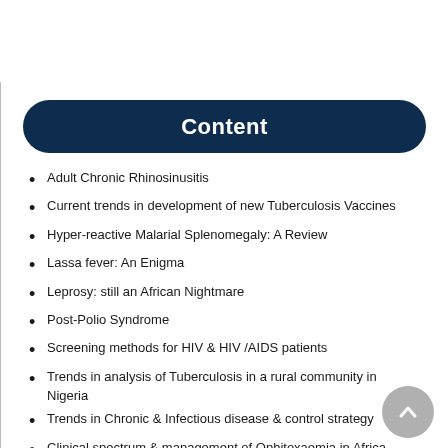Content
Adult Chronic Rhinosinusitis
Current trends in development of new Tuberculosis Vaccines
Hyper-reactive Malarial Splenomegaly: A Review
Lassa fever: An Enigma
Leprosy: still an African Nightmare
Post-Polio Syndrome
Screening methods for HIV & HIV /AIDS patients
Trends in analysis of Tuberculosis in a rural community in Nigeria
Trends in Chronic & Infectious disease & control strategy
Clinical spectrum & management of Ophitoxaemia in Africa